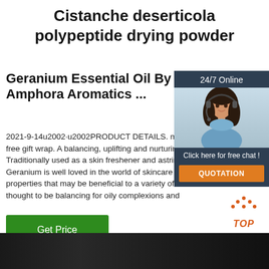Cistanche deserticola polypeptide drying powder
Geranium Essential Oil By Amphora Aromatics ...
2021-9-14u2002·u2002PRODUCT DETAILS. ma free gift wrap. A balancing, uplifting and nurturing Traditionally used as a skin freshener and astrin Geranium is well loved in the world of skincare fo properties that may be beneficial to a variety of s thought to be balancing for oily complexions and
[Figure (screenshot): Chat widget with '24/7 Online' header, photo of smiling woman with headset, 'Click here for free chat!' text, and orange QUOTATION button]
Get Price
[Figure (logo): TOP logo with orange dot pattern above the letters TOP in orange italic bold text]
[Figure (photo): Dark background image at bottom of page]